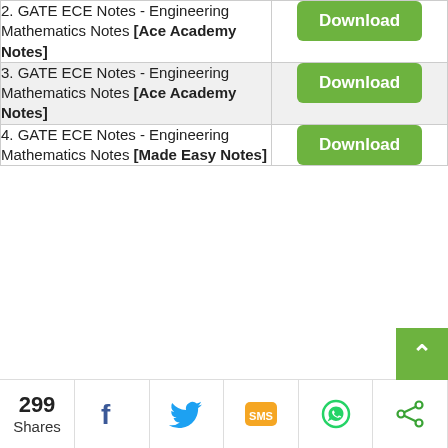| Item | Action |
| --- | --- |
| 2. GATE ECE Notes - Engineering Mathematics Notes [Ace Academy Notes] | Download |
| 3. GATE ECE Notes - Engineering Mathematics Notes [Ace Academy Notes] | Download |
| 4. GATE ECE Notes - Engineering Mathematics Notes [Made Easy Notes] | Download |
299 Shares